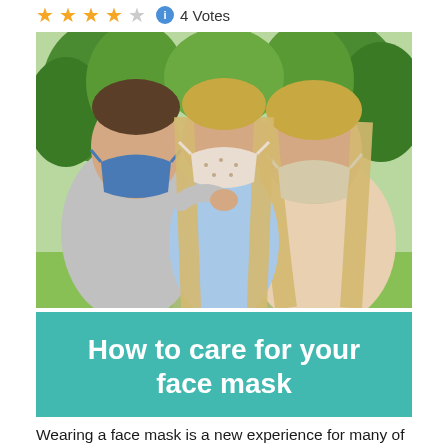4 Votes
[Figure (photo): Family of three wearing face masks outdoors in a park setting — a man on the left wearing a blue mask, a young girl in the center wearing a patterned mask, and a woman on the right wearing a beige mask, with green trees in the background. Overlaid teal banner reads: How to care for your face mask]
Wearing a face mask is a new experience for many of us. We've had to learn how to properly wear one for the first time in our lives, but now after mastering wearing one, the question is – how do I care for my face mask now?  Here